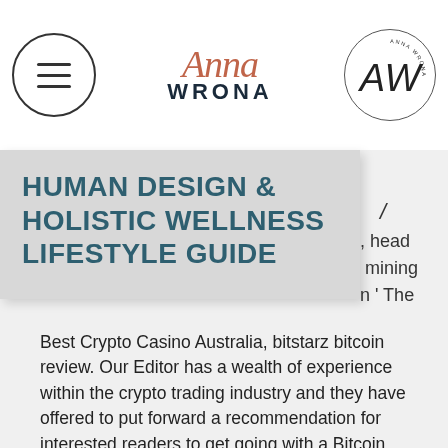[Figure (logo): Anna Wrona brand header with hamburger menu icon, cursive Anna Wrona logotype in orange/coral, and AW circular logo]
HUMAN DESIGN & HOLISTIC WELLNESS LIFESTYLE GUIDE
, head • mining • n ' The
Best Crypto Casino Australia, bitstarz bitcoin review. Our Editor has a wealth of experience within the crypto trading industry and they have offered to put forward a recommendation for interested readers to get going with a Bitcoin casino. This recommendation is based upon our innovative review structure which will be detailed in the next section of this page. Even so, if it is anonymity, safety and hassle-free payments that you seek, Bitcoin